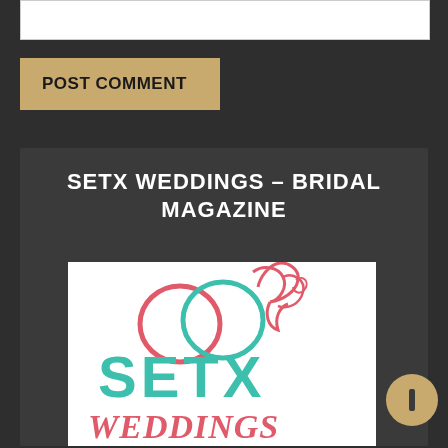[Figure (other): White input text area box at top of page]
POST COMMENT
SETX WEDDINGS – BRIDAL MAGAZINE
[Figure (logo): SETX Weddings Bridal Magazine logo featuring two interlocked rings (one coral/pink, one teal) with a decorative flourish, 'SETX' in large teal capital letters, 'WEDDINGS' in coral/pink italic script below]